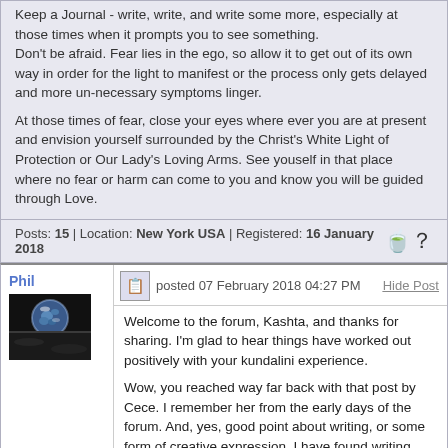Keep a Journal - write, write, and write some more, especially at those times when it prompts you to see something.
Don't be afraid. Fear lies in the ego, so allow it to get out of its own way in order for the light to manifest or the process only gets delayed and more un-necessary symptoms linger.

At those times of fear, close your eyes where ever you are at present and envision yourself surrounded by the Christ's White Light of Protection or Our Lady's Loving Arms. See youself in that place where no fear or harm can come to you and know you will be guided through Love.
Posts: 15 | Location: New York USA | Registered: 16 January 2018
Phil
posted 07 February 2018 04:27 PM
Hide Post
Welcome to the forum, Kashta, and thanks for sharing. I'm glad to hear things have worked out positively with your kundalini experience.

Wow, you reached way far back with that post by Cece. I remember her from the early days of the forum. And, yes, good point about writing, or some form of creative expression. I have found writing helpful as well (hence, all the books I've published and all the posts on this board). Others have told me that painting was helpful, or dancing. Lots of...